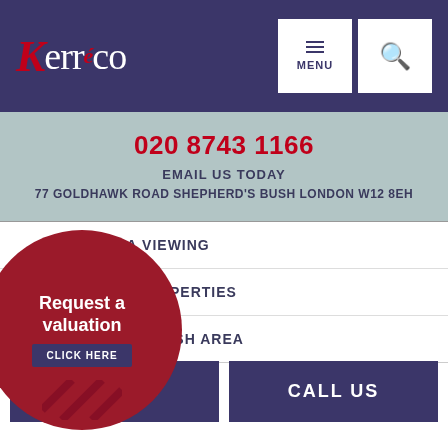[Figure (logo): Kerroco estate agency logo with red K and ampersand on dark navy background]
MENU
020 8743 1166
EMAIL US TODAY
77 GOLDHAWK ROAD SHEPHERD'S BUSH LONDON W12 8EH
[Figure (infographic): Request a valuation circular button with CLICK HERE label]
GE A VIEWING
VED PROPERTIES
ERD'S BUSH AREA
VIEWING
CALL US